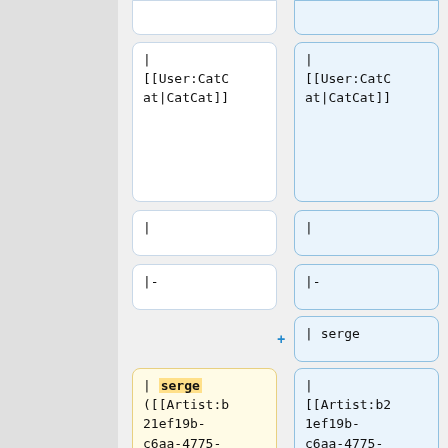[Figure (screenshot): Diff view showing wiki markup comparison between two versions, with yellow (removed) and blue (added) code blocks side by side. Content includes [[User:CatCat|CatCat]], pipe characters, |-  separators, | serge additions, and long artist wikilinks for Serge Gainsbourg, plus [[User:Zas| entries.]